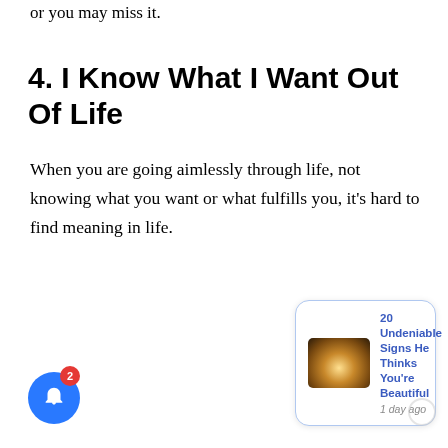or you may miss it.
4. I Know What I Want Out Of Life
When you are going aimlessly through life, not knowing what you want or what fulfills you, it's hard to find meaning in life.
[Figure (screenshot): Notification popup showing '20 Undeniable Signs He Thinks You're Beautiful' with thumbnail image and '1 day ago' timestamp, plus a blue bell notification button with red badge showing 2, and a close X button.]